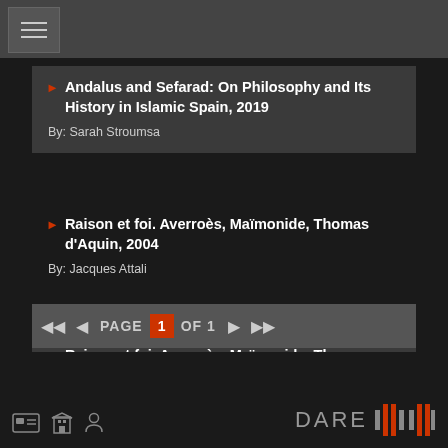Navigation menu
Andalus and Sefarad: On Philosophy and Its History in Islamic Spain, 2019
By: Sarah Stroumsa
Raison et foi. Averroès, Maïmonide, Thomas d'Aquin, 2004
By: Jacques Attali
Raison et foi. Averroès, Maïmonide, Thomas d'Aquin, 2004
By: Jacques Attali
PAGE 1 OF 1
DARE